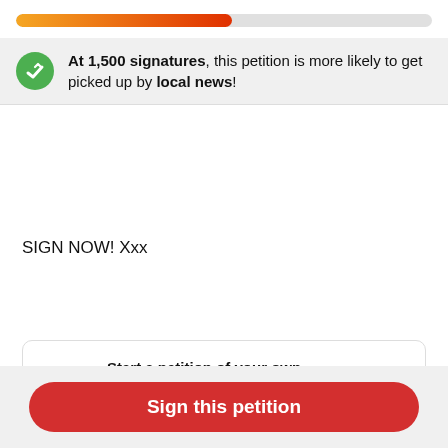[Figure (infographic): Progress bar showing petition signature progress, gradient from orange to red, approximately 52% filled]
At 1,500 signatures, this petition is more likely to get picked up by local news!
SIGN NOW! Xxx
Start a petition of your own
This petition starter stood up and took action. Will you do the same?
Sign this petition